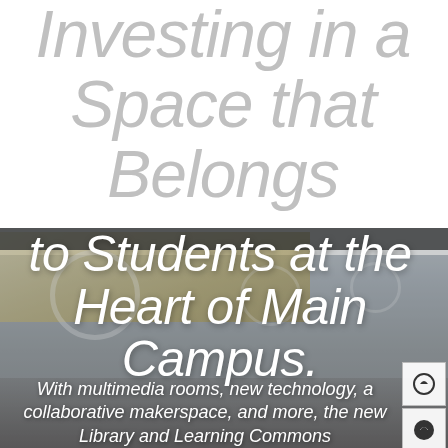Investing in a Space that Belongs to Students at the Heart of Main Campus.
[Figure (photo): Interior photo of a modern library/learning commons space showing a contemporary ceiling with wooden slat panels, circular pendant lights, and students in the background. The image is overlaid with large white italic text.]
With multimedia rooms, new technology, a collaborative makerspace, and more, the new Library and Learning Commons